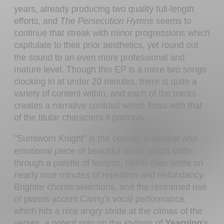years, already producing two quality full-length efforts, and The Persecution Hymns seems to continue that streak with minor progressions which capitulate to their prior aesthetics, yet round out the sound to an even more professional and mature level. Though this EP is a mere two songs clocking in at under 20 minutes, there is quite a variety of content within, and each of the tracks creates a narrative contrast which flows with that of the titular characters it portrays.
"Sunsworn Knight" is the opener, a somber and emotional piece of beautiful doom which shifts through a palette of tempos, rather than settle on nearly nine minutes of repetition and redundancy. Brighter chords selections, and the restrained use of pianos accent Carrig's vocal performance, which hits a nice angry stride at the climax of the verses, a potent spin on the stylings of Yearning's late Juhani Palomäki or Moonspell's Fernando Ribeiro. Female vocals are incorporated tastefully behind the lead vocal line, while there is a major improvement with the bass-lines, which offer something slightly different in the choice of grooves and fills that strengthen the composition. Lowell's own beats and fills are confident and consistent, a drummer